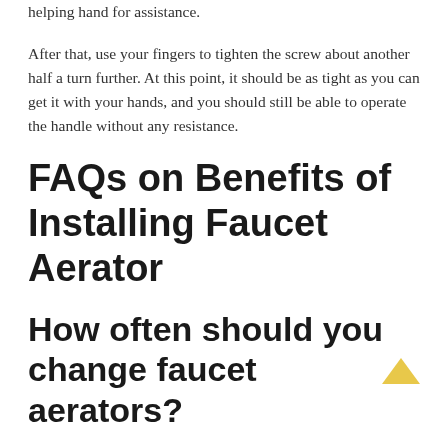helping hand for assistance.
After that, use your fingers to tighten the screw about another half a turn further. At this point, it should be as tight as you can get it with your hands, and you should still be able to operate the handle without any resistance.
FAQs on Benefits of Installing Faucet Aerator
How often should you change faucet aerators?
Aerators are small screens made of metal or plastic